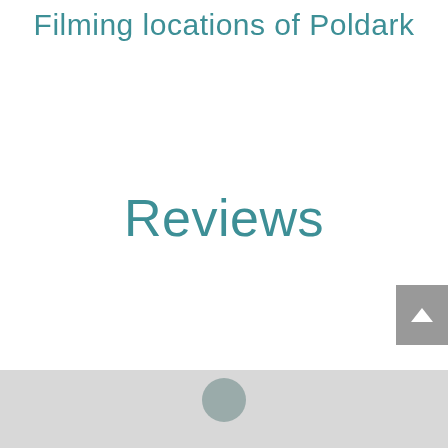Filming locations of Poldark
Reviews
[Figure (other): Back to top button — a grey square button with a white upward-pointing chevron/arrow icon]
[Figure (other): Footer section — light grey background with partial user avatar circle at the bottom edge]